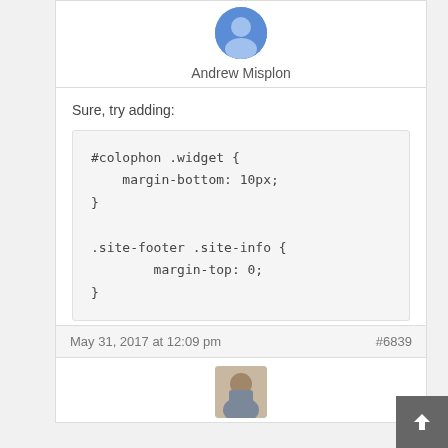[Figure (photo): Avatar photo of Andrew Misplon (small circular profile photo in blue)]
Andrew Misplon
Sure, try adding:
#colophon .widget {
    margin-bottom: 10px;
}

.site-footer .site-info {
        margin-top: 0;
}
May 31, 2017 at 12:09 pm
#6839
[Figure (photo): Avatar photo of a man with short brown hair and beard wearing a patterned shirt]